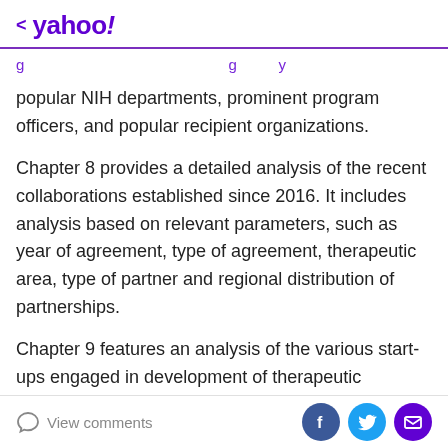< yahoo!
popular NIH departments, prominent program officers, and popular recipient organizations.
Chapter 8 provides a detailed analysis of the recent collaborations established since 2016. It includes analysis based on relevant parameters, such as year of agreement, type of agreement, therapeutic area, type of partner and regional distribution of partnerships.
Chapter 9 features an analysis of the various start-ups engaged in development of therapeutic vaccines, based on relevant parameters, such as number of candidates in discovery, preclinical and clinical phases of development
View comments